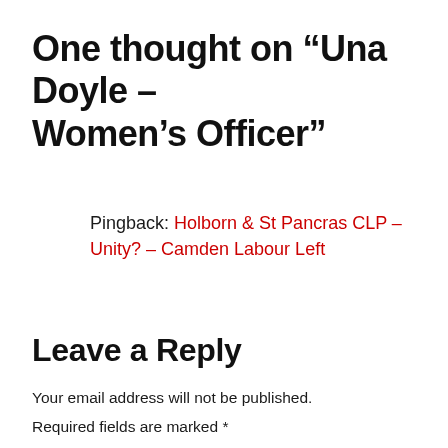One thought on “Una Doyle – Women’s Officer”
Pingback: Holborn & St Pancras CLP – Unity? – Camden Labour Left
Leave a Reply
Your email address will not be published.
Required fields are marked *